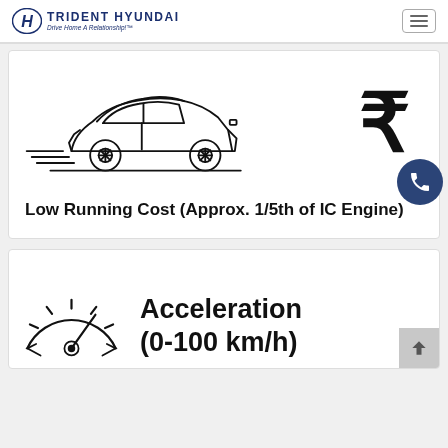TRIDENT HYUNDAI — Drive Home A Relationship!
[Figure (illustration): Line drawing of a Hyundai SUV (Kona EV) in profile with speed lines, alongside an Indian Rupee symbol, illustrating low running cost]
Low Running Cost (Approx. 1/5th of IC Engine)
[Figure (illustration): Circular gauge/speedometer icon representing acceleration]
Acceleration (0-100 km/h)